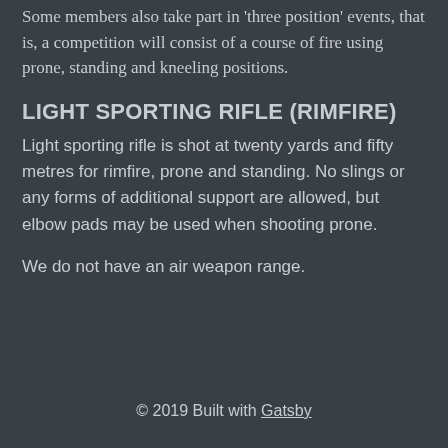Some members also take part in 'three position' events, that is, a competition will consist of a course of fire using prone, standing and kneeling positions.
LIGHT SPORTING RIFLE (RIMFIRE)
Light sporting rifle is shot at twenty yards and fifty metres for rimfire, prone and standing. No slings or any forms of additional support are allowed, but elbow pads may be used when shooting prone.
We do not have an air weapon range.
© 2019 Built with Gatsby